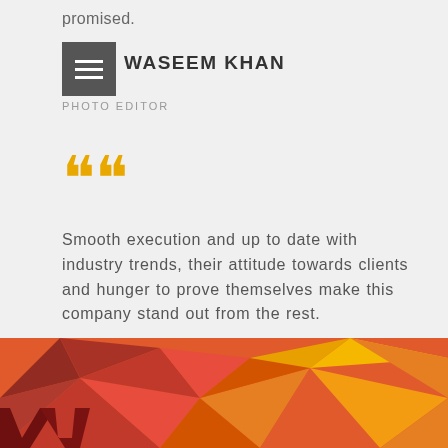promised.
WASEEM KHAN
PHOTO EDITOR
““
Smooth execution and up to date with industry trends, their attitude towards clients and hunger to prove themselves make this company stand out from the rest.
P. BALA SUBRAMANYAM
MD ASN SHELTERS
[Figure (illustration): Colorful geometric low-poly triangle pattern in red, orange, and dark maroon tones at the bottom of the page, with partial large dark red angular logo/letterforms visible in the lower left corner.]